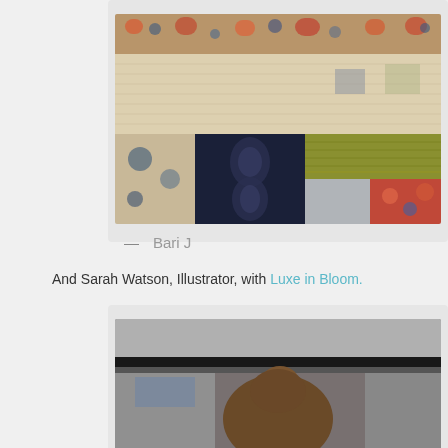[Figure (photo): Close-up photograph of a colorful patchwork quilt with floral and decorative fabric patterns in navy, coral, cream, olive green, and blue tones]
— Bari J
And Sarah Watson, Illustrator, with Luxe in Bloom.
[Figure (photo): Photograph of a person with brown hair in an updo, seen from behind/side, in what appears to be a classroom or presentation setting]